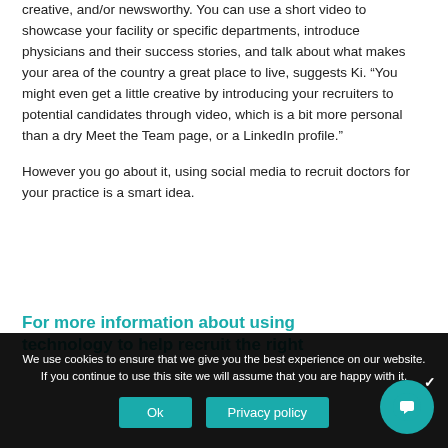creative, and/or newsworthy. You can use a short video to showcase your facility or specific departments, introduce physicians and their success stories, and talk about what makes your area of the country a great place to live, suggests Ki. “You might even get a little creative by introducing your recruiters to potential candidates through video, which is a bit more personal than a dry Meet the Team page, or a LinkedIn profile.”

However you go about it, using social media to recruit doctors for your practice is a smart idea.
For more information about using technology to help recruit the right
We use cookies to ensure that we give you the best experience on our website. If you continue to use this site we will assume that you are happy with it.